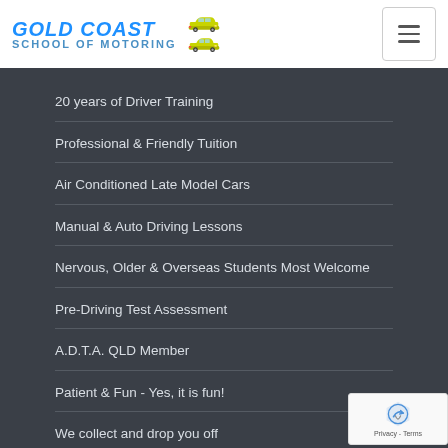[Figure (logo): Gold Coast School of Motoring logo with two yellow cars and blue text]
20 years of Driver Training
Professional & Friendly Tuition
Air Conditioned Late Model Cars
Manual & Auto Driving Lessons
Nervous, Older & Overseas Students Most Welcome
Pre-Driving Test Assessment
A.D.T.A. QLD Member
Patient & Fun - Yes, it is fun!
We collect and drop you off